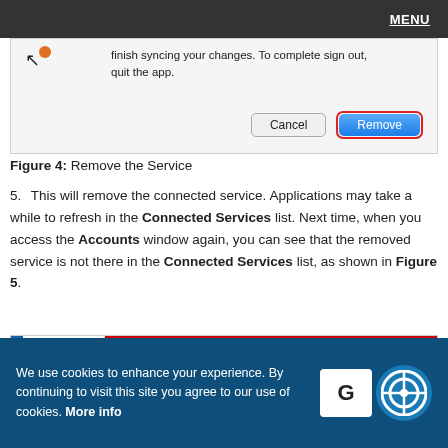MENU
[Figure (screenshot): Dialog box showing 'finish syncing your changes. To complete sign out, quit the app.' with Cancel and Remove buttons. Remove button is highlighted with a red border.]
Figure 4: Remove the Service
This will remove the connected service. Applications may take a while to refresh in the Connected Services list. Next time, when you access the Accounts window again, you can see that the removed service is not there in the Connected Services list, as shown in Figure 5.
[Figure (screenshot): Screenshot showing Geetesh Bajaj profile with email @hotmail.com in the Accounts window.]
We use cookies to enhance your experience. By continuing to visit this site you agree to our use of cookies. More info